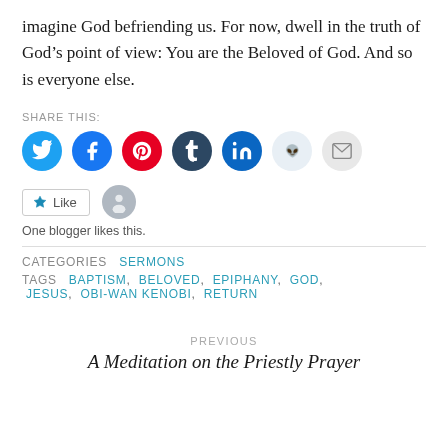imagine God befriending us. For now, dwell in the truth of God’s point of view: You are the Beloved of God. And so is everyone else.
SHARE THIS:
[Figure (infographic): Row of social media icon circles: Twitter (blue), Facebook (blue), Pinterest (red), Tumblr (dark navy), LinkedIn (dark blue), Reddit (light blue), Email (grey)]
[Figure (infographic): Like button with star icon and avatar circle silhouette]
One blogger likes this.
CATEGORIES  SERMONS
TAGS  BAPTISM,  BELOVED,  EPIPHANY,  GOD,  JESUS,  OBI-WAN KENOBI,  RETURN
PREVIOUS
A Meditation on the Priestly Prayer